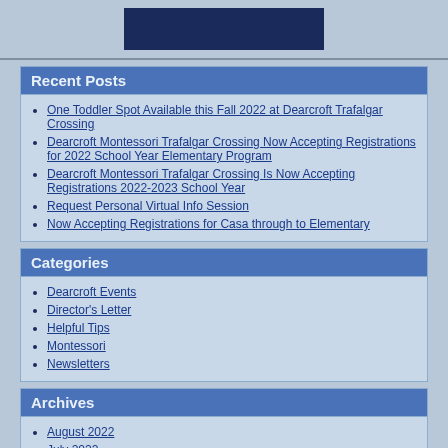[Figure (other): Dark blue banner/logo image at top of page]
Recent Posts
One Toddler Spot Available this Fall 2022 at Dearcroft Trafalgar Crossing
Dearcroft Montessori Trafalgar Crossing Now Accepting Registrations for 2022 School Year Elementary Program
Dearcroft Montessori Trafalgar Crossing Is Now Accepting Registrations 2022-2023 School Year
Request Personal Virtual Info Session
Now Accepting Registrations for Casa through to Elementary
Categories
Dearcroft Events
Director's Letter
Helpful Tips
Montessori
Newsletters
Archives
August 2022
July 2022
June 2022